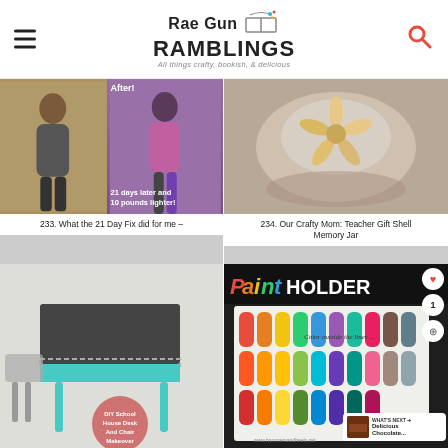Rae Gun Ramblings — All things crafty, bookish, & delicious
[Figure (photo): Before and after photo of a person, right side labeled '21 days later and 10 pounds lighter!']
233. What the 21 Day Fix did for me –
[Figure (photo): Photo of a starfish shell in a decorative jar]
234. Our Crafty Mom: Teacher Gift Shell Memory Jar
[Figure (photo): DIY School House Desk And Chair Makeover — teal painted school desk]
[Figure (photo): Paint holder rack with colorful paint bottles, title reads 'Paint HOLDER Color outside the lines...' with social sharing buttons and 'WHAT'S NEXT Delicious Chocolate...' badge]